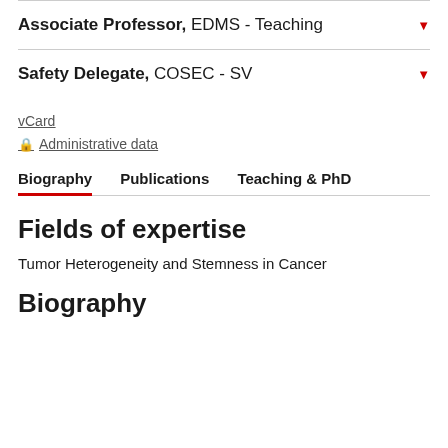Associate Professor, EDMS - Teaching
Safety Delegate, COSEC - SV
vCard
Administrative data
Biography | Publications | Teaching & PhD
Fields of expertise
Tumor Heterogeneity and Stemness in Cancer
Biography